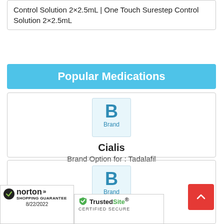Control Solution 2×2.5mL | One Touch Surestep Control Solution 2×2.5mL
Popular Medications
[Figure (logo): Brand badge with letter B for Cialis]
Cialis
Brand Option for : Tadalafil
[Figure (logo): Brand badge with letter B for Lipitor]
Lipitor
Brand Option for : Atorvastatin
[Figure (logo): Norton Shopping Guarantee badge dated 8/22/2022]
[Figure (logo): TrustedSite Certified Secure badge]